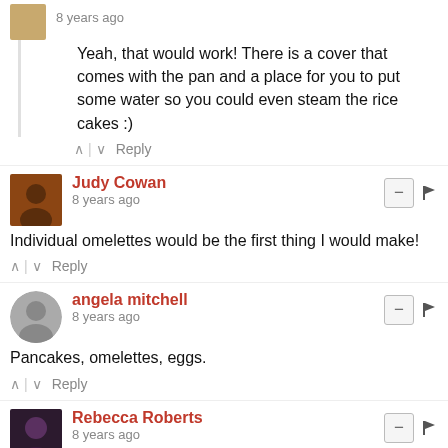8 years ago
Yeah, that would work! There is a cover that comes with the pan and a place for you to put some water so you could even steam the rice cakes :)
^ | v  Reply
Judy Cowan
8 years ago
Individual omelettes would be the first thing I would make!
^ | v  Reply
angela mitchell
8 years ago
Pancakes, omelettes, eggs.
^ | v  Reply
Rebecca Roberts
8 years ago
Individual omlettes customized for each person!
^ | v  Reply
Journeysof TheZoo